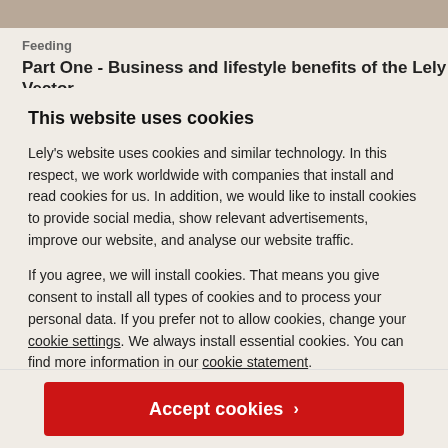[Figure (photo): Partial photo strip at top of page, showing an outdoor/farm scene]
Feeding
Part One - Business and lifestyle benefits of the Lely Vector
This website uses cookies
Lely's website uses cookies and similar technology. In this respect, we work worldwide with companies that install and read cookies for us. In addition, we would like to install cookies to provide social media, show relevant advertisements, improve our website, and analyse our website traffic.
If you agree, we will install cookies. That means you give consent to install all types of cookies and to process your personal data. If you prefer not to allow cookies, change your cookie settings. We always install essential cookies. You can find more information in our cookie statement.
Accept cookies